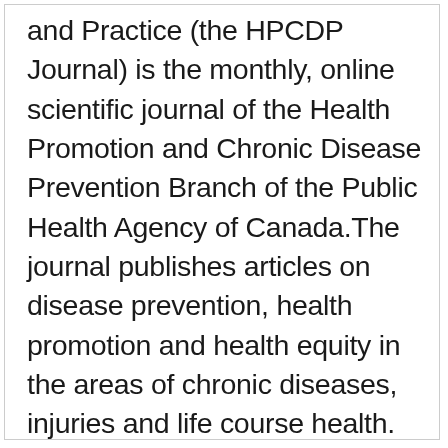and Practice (the HPCDP Journal) is the monthly, online scientific journal of the Health Promotion and Chronic Disease Prevention Branch of the Public Health Agency of Canada.The journal publishes articles on disease prevention, health promotion and health equity in the areas of chronic diseases, injuries and life course health. Content includes research from fields such as public/community health, epidemiology, biostatistics, the behavioural and social sciences, and health services or economics.